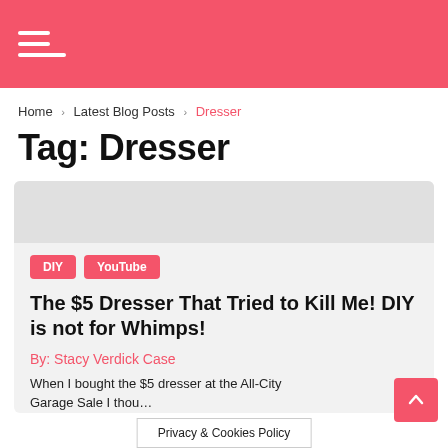Navigation header bar with hamburger menu icon
Home › Latest Blog Posts › Dresser
Tag: Dresser
DIY  YouTube
The $5 Dresser That Tried to Kill Me! DIY is not for Whimps!
By: Stacy Verdick Case
When I bought the $5 dresser at the All-City Garage Sale I thou…
Privacy & Cookies Policy